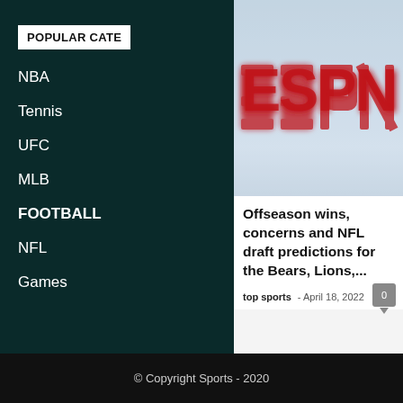POPULAR CATE
NBA
Tennis
UFC
MLB
FOOTBALL
NFL
Games
[Figure (logo): ESPN logo on light blue/grey gradient background]
Offseason wins, concerns and NFL draft predictions for the Bears, Lions,...
top sports - April 18, 2022
About Us
© Copyright Sports - 2020